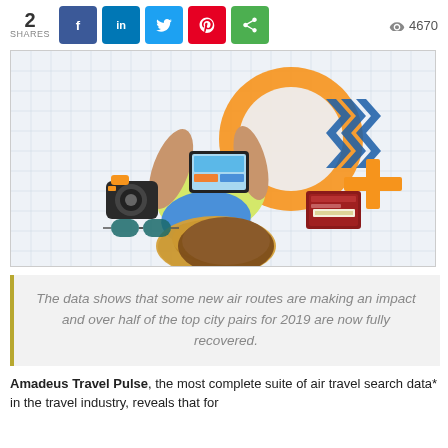2 SHARES  f  in  Twitter  Pinterest  Share  4670 views
[Figure (illustration): Travel illustration showing a person lying down viewed from above wearing a straw hat, holding a tablet, surrounded by a camera, sunglasses, backpack, passport and tickets, with orange circle, blue chevrons and orange plus graphic elements on a grid background.]
The data shows that some new air routes are making an impact and over half of the top city pairs for 2019 are now fully recovered.
Amadeus Travel Pulse, the most complete suite of air travel search data* in the travel industry, reveals that for